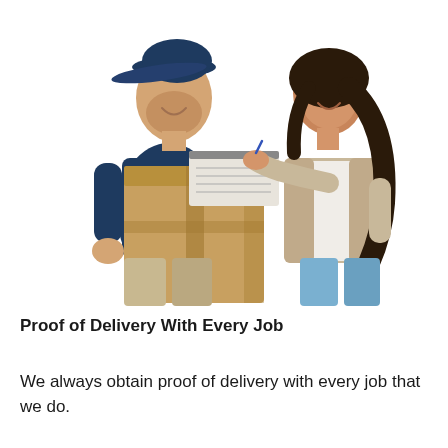[Figure (photo): A delivery person in a navy blue polo shirt and cap holds a cardboard box while a woman with long dark hair signs a delivery document on top of the box. White background.]
Proof of Delivery With Every Job
We always obtain proof of delivery with every job that we do.